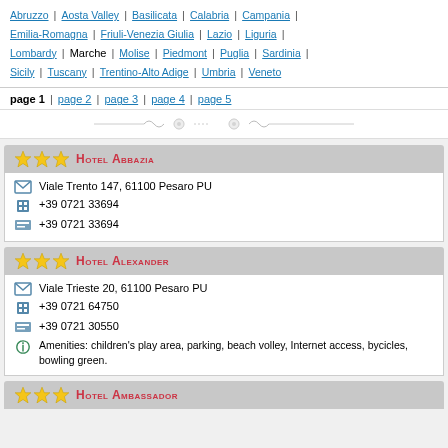Abruzzo | Aosta Valley | Basilicata | Calabria | Campania | Emilia-Romagna | Friuli-Venezia Giulia | Lazio | Liguria | Lombardy | Marche | Molise | Piedmont | Puglia | Sardinia | Sicily | Tuscany | Trentino-Alto Adige | Umbria | Veneto
page 1 | page 2 | page 3 | page 4 | page 5
[Figure (illustration): Decorative divider with floral/scroll ornament]
★★★ Hotel Abbazia
Viale Trento 147, 61100 Pesaro PU
+39 0721 33694
+39 0721 33694
★★★ Hotel Alexander
Viale Trieste 20, 61100 Pesaro PU
+39 0721 64750
+39 0721 30550
Amenities: children's play area, parking, beach volley, Internet access, bycicles, bowling green.
★★★ Hotel Ambassador